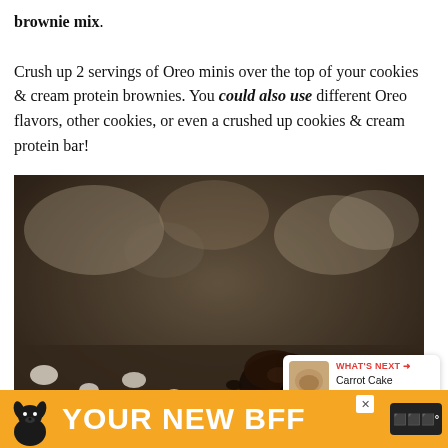brownie mix. Crush up 2 servings of Oreo minis over the top of your cookies & cream protein brownies. You could also use different Oreo flavors, other cookies, or even a crushed up cookies & cream protein bar!
[Figure (photo): Close-up macro photo of dark chocolate brownie pieces with white cream cookie crumbles on a surface, with a blurred bokeh background.]
[Figure (infographic): WHAT'S NEXT: Carrot Cake Protein...]
[Figure (infographic): Advertisement banner: YOUR NEW BFF with dog illustration, orange background]